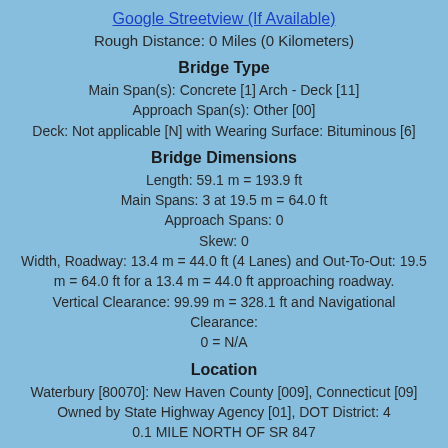Google Streetview (If Available)
Rough Distance: 0 Miles (0 Kilometers)
Bridge Type
Main Span(s): Concrete [1] Arch - Deck [11]
Approach Span(s): Other [00]
Deck: Not applicable [N] with Wearing Surface: Bituminous [6]
Bridge Dimensions
Length: 59.1 m = 193.9 ft
Main Spans: 3 at 19.5 m = 64.0 ft
Approach Spans: 0
Skew: 0
Width, Roadway: 13.4 m = 44.0 ft (4 Lanes) and Out-To-Out: 19.5 m = 64.0 ft for a 13.4 m = 44.0 ft approaching roadway.
Vertical Clearance: 99.99 m = 328.1 ft and Navigational Clearance: 0 = N/A
Location
Waterbury [80070]: New Haven County [009], Connecticut [09]
Owned by State Highway Agency [01], DOT District: 4
0.1 MILE NORTH OF SR 847
Condition